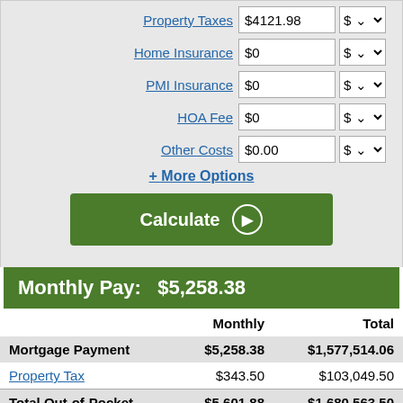Property Taxes | $4121.98 | $
Home Insurance | $0 | $
PMI Insurance | $0 | $
HOA Fee | $0 | $
Other Costs | $0.00 | $
+ More Options
Calculate
Monthly Pay:   $5,258.38
|  | Monthly | Total |
| --- | --- | --- |
| Mortgage Payment | $5,258.38 | $1,577,514.06 |
| Property Tax | $343.50 | $103,049.50 |
| Total Out-of-Pocket | $5,601.88 | $1,680,563.50 |